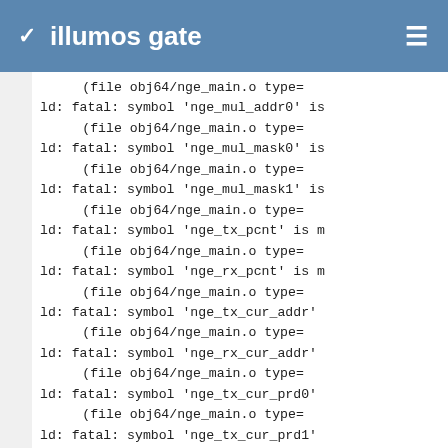illumos gate
(file obj64/nge_main.o type=
ld: fatal: symbol 'nge_mul_addr0' is
(file obj64/nge_main.o type=
ld: fatal: symbol 'nge_mul_mask0' is
(file obj64/nge_main.o type=
ld: fatal: symbol 'nge_mul_mask1' is
(file obj64/nge_main.o type=
ld: fatal: symbol 'nge_tx_pcnt' is m
(file obj64/nge_main.o type=
ld: fatal: symbol 'nge_rx_pcnt' is m
(file obj64/nge_main.o type=
ld: fatal: symbol 'nge_tx_cur_addr'
(file obj64/nge_main.o type=
ld: fatal: symbol 'nge_rx_cur_addr'
(file obj64/nge_main.o type=
ld: fatal: symbol 'nge_tx_cur_prd0'
(file obj64/nge_main.o type=
ld: fatal: symbol 'nge_tx_cur_prd1'